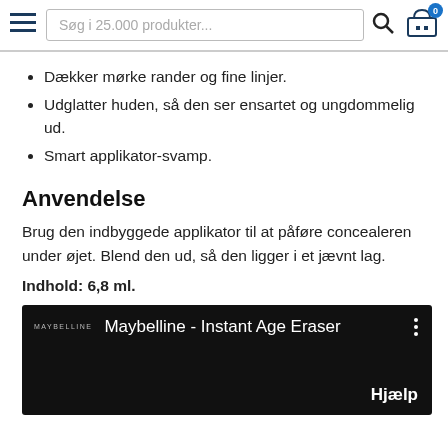≡  Søg i 25.000 produkter...  🔍  🛒 0
Dækker mørke rander og fine linjer.
Udglatter huden, så den ser ensartet og ungdommelig ud.
Smart applikator-svamp.
Anvendelse
Brug den indbyggede applikator til at påføre concealeren under øjet. Blend den ud, så den ligger i et jævnt lag.
Indhold: 6,8 ml.
[Figure (screenshot): Video thumbnail with black background showing 'MAYBELLINE' logo and title 'Maybelline - Instant Age Eraser' with three-dot menu icon and 'Hjælp' label at bottom right.]